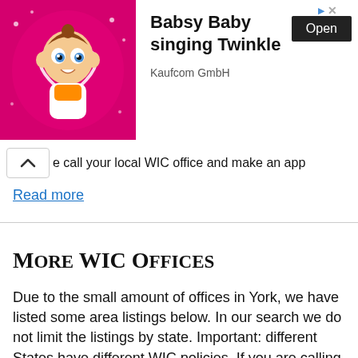[Figure (photo): Advertisement banner showing Babsy Baby cartoon character with pink background, singing Twinkle, by Kaufcom GmbH, with Open button]
e call your local WIC office and make an app
Read more
More WIC Offices
Due to the small amount of offices in York, we have listed some area listings below. In our search we do not limit the listings by state. Important: different States have different WIC policies. If you are calling